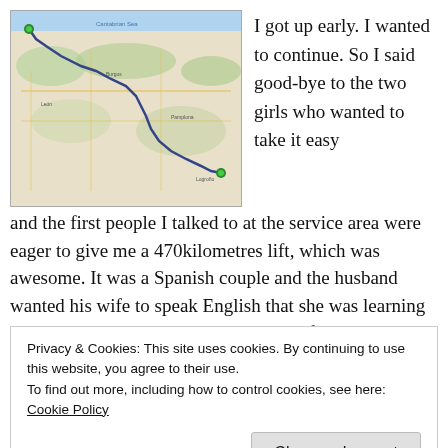[Figure (map): A map of northern Spain showing a route marked in blue/dark line from the northwest coast (green marker) southeast to a point near the north coast, with another green marker at the destination. Shows terrain, roads, and city names across Spain's northern region.]
I got up early. I wanted to continue. So I said good-bye to the two girls who wanted to take it easy
and the first people I talked to at the service area were eager to give me a 470kilometres lift, which was awesome. It was a Spanish couple and the husband wanted his wife to speak English that she was learning at evening school. So it was a win-win for Carlos, Anna and me.
Privacy & Cookies: This site uses cookies. By continuing to use this website, you agree to their use.
To find out more, including how to control cookies, see here: Cookie Policy
Close and accept
northern countryside in green. The beaches are wide and empty,